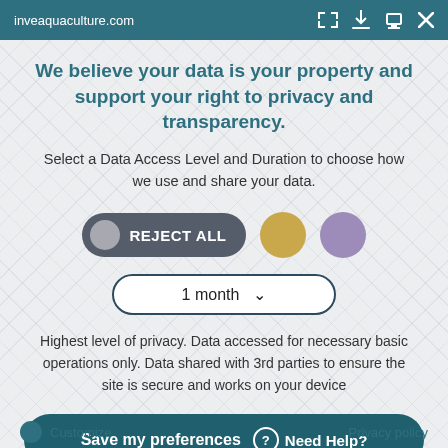inveaquaculture.com
We believe your data is your property and support your right to privacy and transparency.
Select a Data Access Level and Duration to choose how we use and share your data.
[Figure (infographic): Three buttons: REJECT ALL toggle (dark grey pill with grey circle), a gold circle button, and a purple circle button]
[Figure (infographic): Dropdown selector showing '1 month' with chevron arrow, styled with teal border and rounded corners]
Highest level of privacy. Data accessed for necessary basic operations only. Data shared with 3rd parties to ensure the site is secure and works on your device
[Figure (infographic): Large teal rounded button reading 'Save my preferences' with a 'Need Help?' label and question mark circle icon]
Customize    Privacy policy